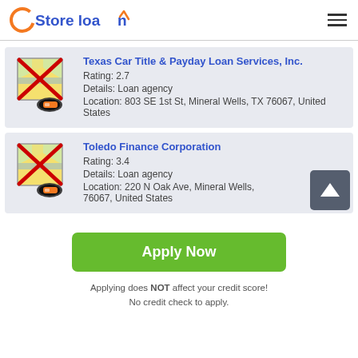Store loan
Texas Car Title & Payday Loan Services, Inc.
Rating: 2.7
Details: Loan agency
Location: 803 SE 1st St, Mineral Wells, TX 76067, United States
Toledo Finance Corporation
Rating: 3.4
Details: Loan agency
Location: 220 N Oak Ave, Mineral Wells, 76067, United States
Apply Now
Applying does NOT affect your credit score!
No credit check to apply.